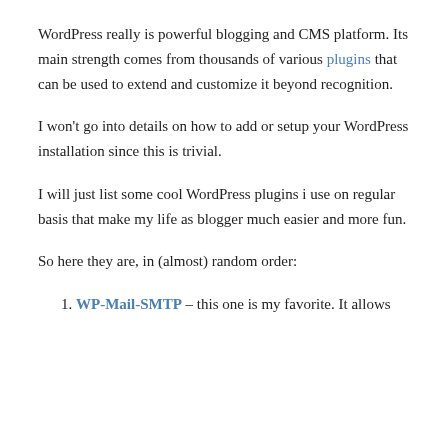WordPress really is powerful blogging and CMS platform. Its main strength comes from thousands of various plugins that can be used to extend and customize it beyond recognition.
I won't go into details on how to add or setup your WordPress installation since this is trivial.
I will just list some cool WordPress plugins i use on regular basis that make my life as blogger much easier and more fun.
So here they are, in (almost) random order:
WP-Mail-SMTP – this one is my favorite. It allows